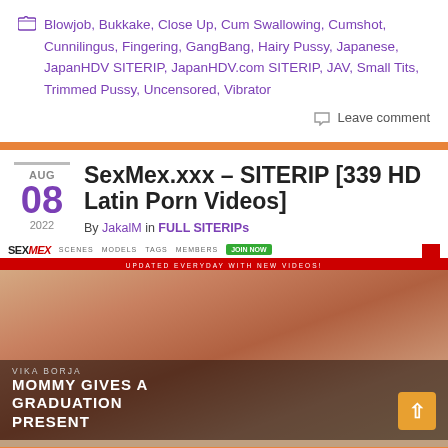Blowjob, Bukkake, Close Up, Cum Swallowing, Cumshot, Cunnilingus, Fingering, GangBang, Hairy Pussy, Japanese, JapanHDV SITERIP, JapanHDV.com SITERIP, JAV, Small Tits, Trimmed Pussy, Uncensored, Vibrator
Leave comment
AUG 08 2022
SexMex.xxx – SITERIP [339 HD Latin Porn Videos]
By JakalM in FULL SITERIPs
[Figure (screenshot): Screenshot of SexMex.xxx website header and a video thumbnail showing adult content with overlay text: VIKA BORJA / MOMMY GIVES A GRADUATION PRESENT]